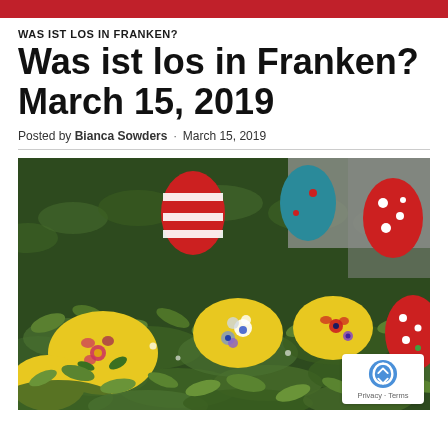WAS IST LOS IN FRANKEN?
Was ist los in Franken? March 15, 2019
Posted by Bianca Sowders · March 15, 2019
[Figure (photo): Colorful decorated Easter eggs (red with white stripes and dots, yellow with floral designs, teal/blue, red with white dots) nestled among green boxwood or similar foliage, photographed close-up.]